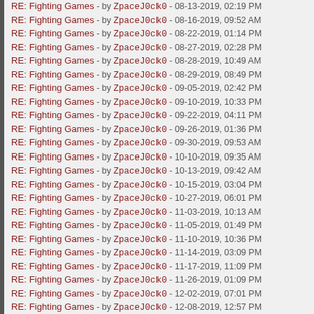RE: Fighting Games - by ZpaceJ0ck0 - 08-13-2019, 02:19 PM
RE: Fighting Games - by ZpaceJ0ck0 - 08-16-2019, 09:52 AM
RE: Fighting Games - by ZpaceJ0ck0 - 08-22-2019, 01:14 PM
RE: Fighting Games - by ZpaceJ0ck0 - 08-27-2019, 02:28 PM
RE: Fighting Games - by ZpaceJ0ck0 - 08-28-2019, 10:49 AM
RE: Fighting Games - by ZpaceJ0ck0 - 08-29-2019, 08:49 PM
RE: Fighting Games - by ZpaceJ0ck0 - 09-05-2019, 02:42 PM
RE: Fighting Games - by ZpaceJ0ck0 - 09-10-2019, 10:33 PM
RE: Fighting Games - by ZpaceJ0ck0 - 09-22-2019, 04:11 PM
RE: Fighting Games - by ZpaceJ0ck0 - 09-26-2019, 01:36 PM
RE: Fighting Games - by ZpaceJ0ck0 - 09-30-2019, 09:53 AM
RE: Fighting Games - by ZpaceJ0ck0 - 10-10-2019, 09:35 AM
RE: Fighting Games - by ZpaceJ0ck0 - 10-13-2019, 09:42 AM
RE: Fighting Games - by ZpaceJ0ck0 - 10-15-2019, 03:04 PM
RE: Fighting Games - by ZpaceJ0ck0 - 10-27-2019, 06:01 PM
RE: Fighting Games - by ZpaceJ0ck0 - 11-03-2019, 10:13 AM
RE: Fighting Games - by ZpaceJ0ck0 - 11-05-2019, 01:49 PM
RE: Fighting Games - by ZpaceJ0ck0 - 11-10-2019, 10:36 PM
RE: Fighting Games - by ZpaceJ0ck0 - 11-14-2019, 03:09 PM
RE: Fighting Games - by ZpaceJ0ck0 - 11-17-2019, 11:09 PM
RE: Fighting Games - by ZpaceJ0ck0 - 11-26-2019, 01:09 PM
RE: Fighting Games - by ZpaceJ0ck0 - 12-02-2019, 07:01 PM
RE: Fighting Games - by ZpaceJ0ck0 - 12-08-2019, 12:57 PM
RE: Fighting Games - by ZpaceJ0ck0 - 12-14-2019, 04:48 PM
RE: Fighting Games - by ZpaceJ0ck0 - 12-30-2019, 05:31 PM